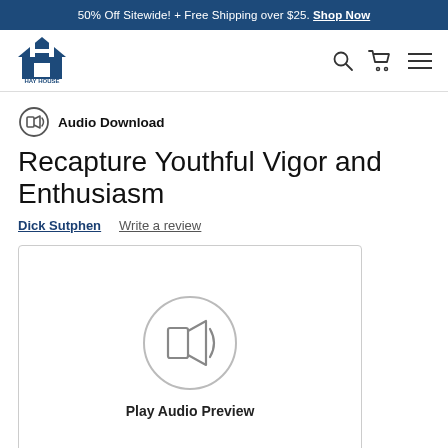50% Off Sitewide! + Free Shipping over $25. Shop Now
[Figure (logo): Hay House logo with house icon and text HAY HOUSE in blue]
Audio Download
Recapture Youthful Vigor and Enthusiasm
Dick Sutphen   Write a review
[Figure (illustration): Audio speaker/sound icon in a circle with text Play Audio Preview below]